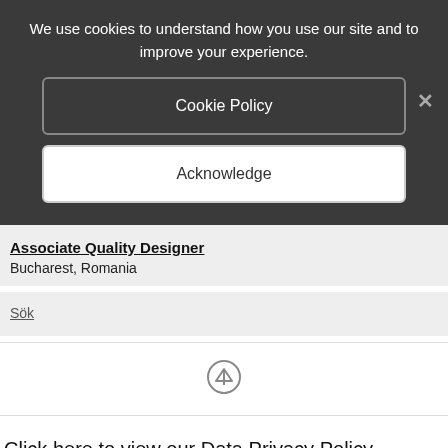We use cookies to understand how you use our site and to improve your experience.
Cookie Policy
×
Acknowledge
Associate Quality Designer
Bucharest, Romania
Sök
[Figure (other): Up arrow icon circle]
Click here to view our Data Privacy Policy.